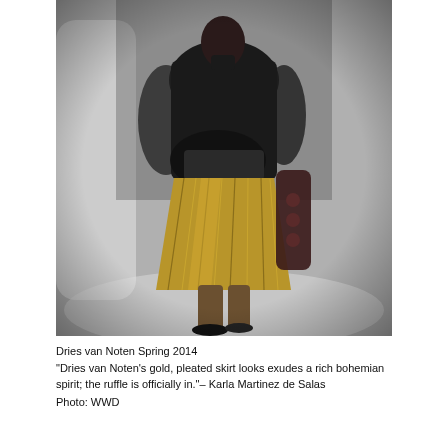[Figure (photo): A fashion runway photo of a model wearing a black sheer blouse and a gold metallic pleated skirt, walking on a runway. The background is blurred white/grey runway lighting.]
Dries van Noten Spring 2014
"Dries van Noten's gold, pleated skirt looks exudes a rich bohemian spirit; the ruffle is officially in."– Karla Martinez de Salas
Photo: WWD